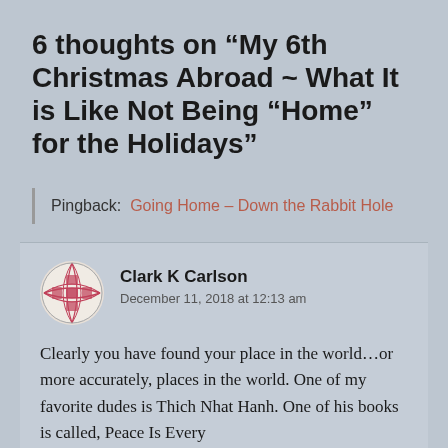6 thoughts on “My 6th Christmas Abroad ~ What It is Like Not Being “Home” for the Holidays”
Pingback: Going Home – Down the Rabbit Hole
Clark K Carlson
December 11, 2018 at 12:13 am
Clearly you have found your place in the world...or more accurately, places in the world. One of my favorite dudes is Thich Nhat Hanh. One of his books is called, Peace Is Every